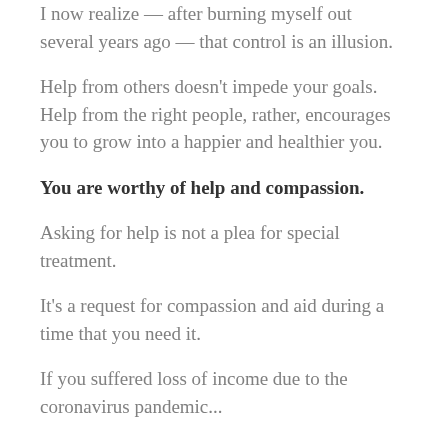I now realize — after burning myself out several years ago — that control is an illusion.
Help from others doesn't impede your goals. Help from the right people, rather, encourages you to grow into a happier and healthier you.
You are worthy of help and compassion.
Asking for help is not a plea for special treatment.
It's a request for compassion and aid during a time that you need it.
If you suffered loss of income due to the coronavirus pandemic...